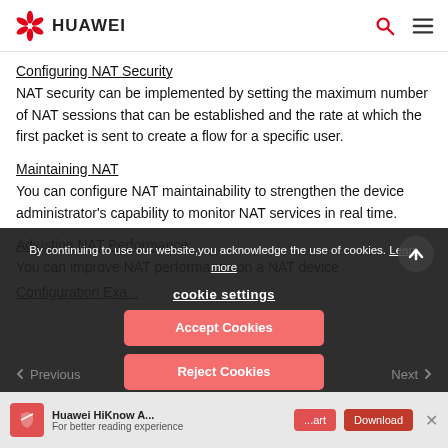HUAWEI
Configuring NAT Security
NAT security can be implemented by setting the maximum number of NAT sessions that can be established and the rate at which the first packet is sent to create a flow for a specific user.
Maintaining NAT
You can configure NAT maintainability to strengthen the device administrator's capability to monitor NAT services in real time.
Adjusting NAT Performance
You can improve NAT performance on a NAT device
Configuration Exa...
By continuing to use our website,you acknowledge the use of cookies. Learn more
cookie settings
Accept Cookies
Reject Cookies
Previous   Next
Huawei HiKnow A...
For better reading experience